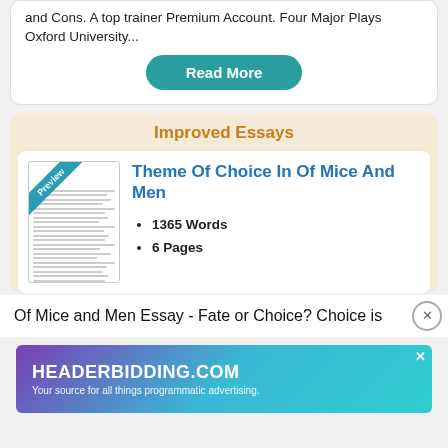and Cons. A top trainer Premium Account. Four Major Plays Oxford University...
Read More
Improved Essays
[Figure (illustration): Preview thumbnail of an essay document with a 'Preview' diagonal badge in teal.]
Theme Of Choice In Of Mice And Men
1365 Words
6 Pages
Of Mice and Men Essay - Fate or Choice? Choice is
[Figure (screenshot): Advertisement banner for HEADERBIDDING.COM - Your source for all things programmatic advertising.]